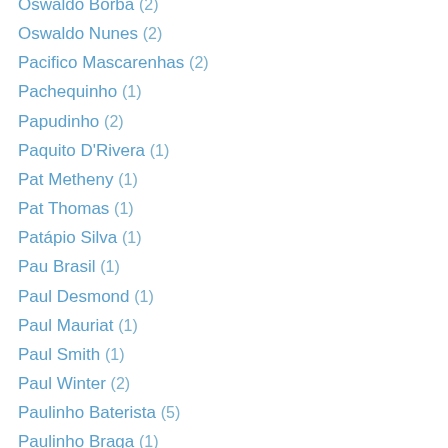Oswaldo Borba (2)
Oswaldo Nunes (2)
Pacifico Mascarenhas (2)
Pachequinho (1)
Papudinho (2)
Paquito D'Rivera (1)
Pat Metheny (1)
Pat Thomas (1)
Patápio Silva (1)
Pau Brasil (1)
Paul Desmond (1)
Paul Mauriat (1)
Paul Smith (1)
Paul Winter (2)
Paulinho Baterista (5)
Paulinho Braga (1)
Paulinho da Costa (3)
Paulinho da Viola (9)
Paulinho Nogueira (9)
Paulinho Nunes (1)